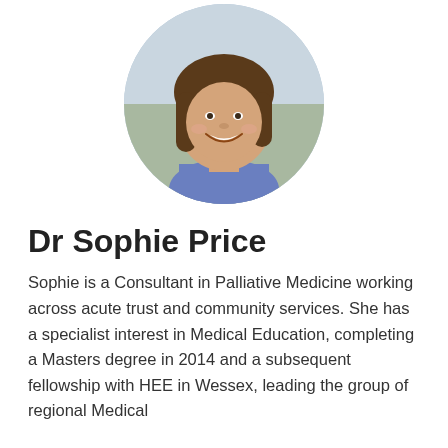[Figure (photo): Circular portrait photo of Dr Sophie Price, a woman with long brown hair, smiling, wearing a patterned top, photographed outdoors.]
Dr Sophie Price
Sophie is a Consultant in Palliative Medicine working across acute trust and community services.  She has a specialist interest in Medical Education, completing a Masters degree in 2014 and a subsequent fellowship with HEE in Wessex, leading the group of regional Medical